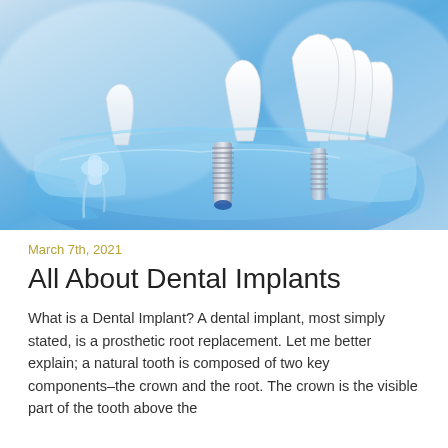[Figure (photo): A 3D medical illustration of a transparent blue jaw model showing dental implants — titanium screw posts anchoring into the jawbone with white porcelain crowns on top, displayed against a light blue background.]
March 7th, 2021
All About Dental Implants
What is a Dental Implant? A dental implant, most simply stated, is a prosthetic root replacement. Let me better explain; a natural tooth is composed of two key components–the crown and the root. The crown is the visible part of the tooth above the